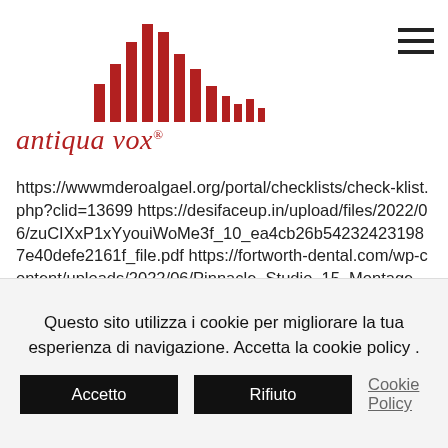[Figure (logo): Antiqua Vox logo with red vertical bar chart waveform graphic above italic red text 'antiqua vox®']
https://www.mderoalgael.org/portal/checklists/check-klist.php?clid=13699 https://desifaceup.in/upload/files/2022/06/zuCIXxP1xYyouiWoMe3f_10_ea4cb26b542324231987e40defe2161f_file.pdf https://fortworth-dental.com/wp-content/uploads/2022/06/Pinnacle_Studio_15_Montage_Themes_Free_Download_2021.pdf
Questo sito utilizza i cookie per migliorare la tua esperienza di navigazione. Accetta la cookie policy .
Accetto
Rifiuto
Cookie Policy